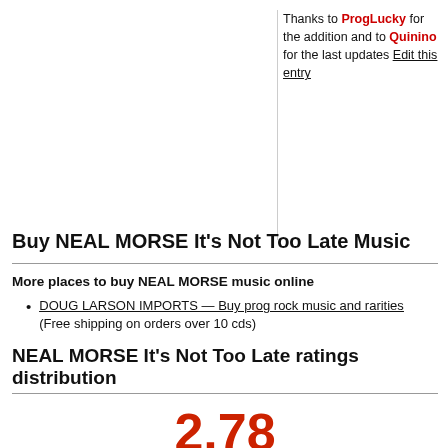Thanks to ProgLucky for the addition and to Quinino for the last updates Edit this entry
Buy NEAL MORSE It's Not Too Late Music
More places to buy NEAL MORSE music online
DOUG LARSON IMPORTS — Buy prog rock music and rarities (Free shipping on orders over 10 cds)
NEAL MORSE It's Not Too Late ratings distribution
2.78
(108 ratings)